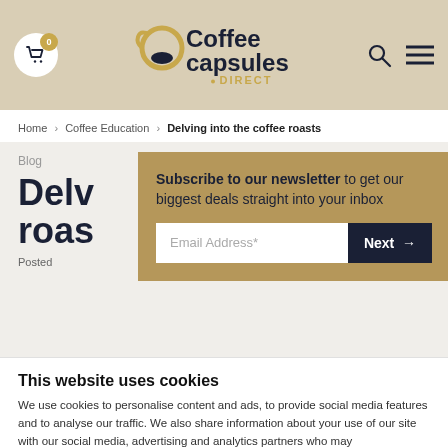[Figure (logo): Coffee Capsules Direct logo with shopping cart icon, search icon, and hamburger menu in a beige/tan header]
Home › Coffee Education › Delving into the coffee roasts
Blog
Delving into the coffee roasts
Posted
Subscribe to our newsletter to get our biggest deals straight into your inbox
Email Address*
Next →
This website uses cookies
We use cookies to personalise content and ads, to provide social media features and to analyse our traffic. We also share information about your use of our site with our social media, advertising and analytics partners who may